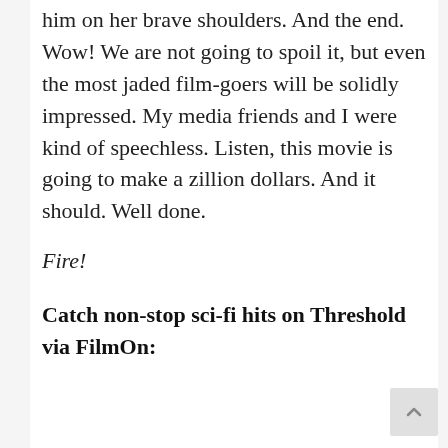him on her brave shoulders. And the end. Wow! We are not going to spoil it, but even the most jaded film-goers will be solidly impressed. My media friends and I were kind of speechless. Listen, this movie is going to make a zillion dollars. And it should. Well done.
Fire!
Catch non-stop sci-fi hits on Threshold via FilmOn: